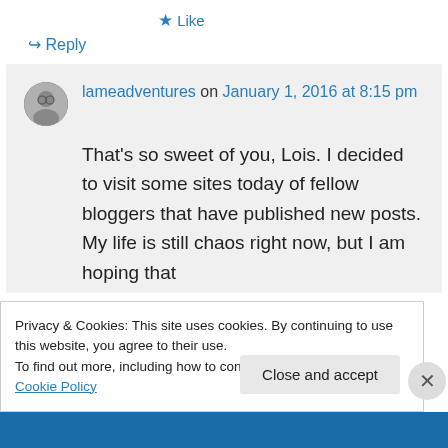★ Like
↪ Reply
lameadventures on January 1, 2016 at 8:15 pm
That's so sweet of you, Lois. I decided to visit some sites today of fellow bloggers that have published new posts. My life is still chaos right now, but I am hoping that [continues]
Privacy & Cookies: This site uses cookies. By continuing to use this website, you agree to their use.
To find out more, including how to control cookies, see here: Cookie Policy
Close and accept